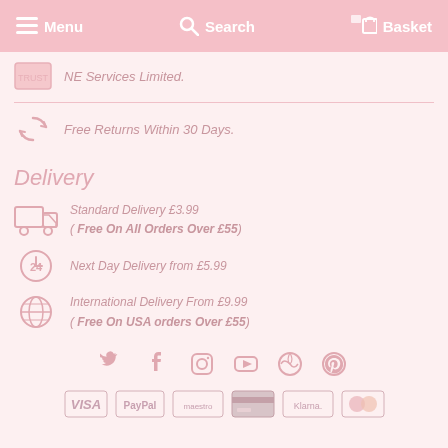Menu  Search  Basket
NE Services Limited.
Free Returns Within 30 Days.
Delivery
Standard Delivery £3.99
( Free On All Orders Over £55)
Next Day Delivery from £5.99
International Delivery From £9.99
( Free On USA orders Over £55)
[Figure (infographic): Social media icons: Twitter, Facebook, Instagram, YouTube, WordPress, Pinterest]
[Figure (infographic): Payment method logos: Visa, PayPal, Maestro, credit card, Klarna, Mastercard]